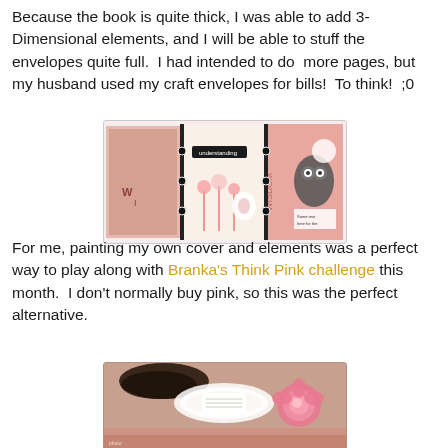Because the book is quite thick, I was able to add 3-Dimensional elements, and I will be able to stuff the envelopes quite full.  I had intended to do  more pages, but my husband used my craft envelopes for bills!  To think!  ;0
[Figure (photo): Open scrapbook/art journal spread showing pink and cream pages decorated with flowers, an owl stamp, and text elements including 'understanding' and 'WISDOM']
For me, painting my own cover and elements was a perfect way to play along with Branka's Think Pink challenge this month.  I don't normally buy pink, so this was the perfect alternative.
[Figure (photo): Close-up of a decorated book cover with pink roses, doily lace, and dark painted elements on a pink background]